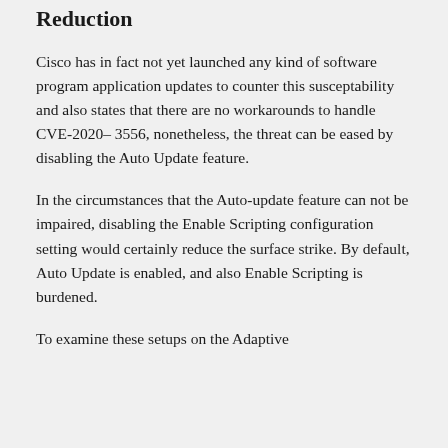Reduction
Cisco has in fact not yet launched any kind of software program application updates to counter this susceptability and also states that there are no workarounds to handle CVE-2020– 3556, nonetheless, the threat can be eased by disabling the Auto Update feature.
In the circumstances that the Auto-update feature can not be impaired, disabling the Enable Scripting configuration setting would certainly reduce the surface strike. By default, Auto Update is enabled, and also Enable Scripting is burdened.
To examine these setups on the Adaptive